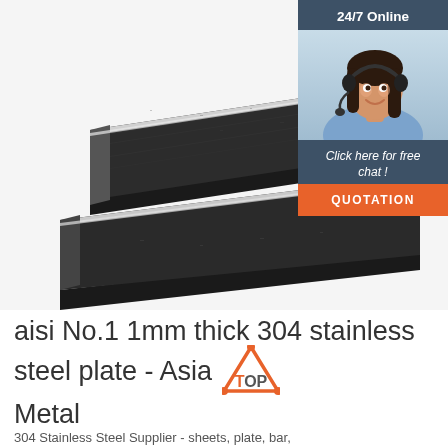[Figure (photo): Two dark/black stainless steel plates stacked at an angle, showing their thickness and surface texture. A customer service chat widget overlaid on the right side showing a smiling woman with a headset, '24/7 Online' header, 'Click here for free chat!' text, and an orange 'QUOTATION' button.]
aisi No.1 1mm thick 304 stainless steel plate - Asia Metal
304 Stainless Steel Supplier - sheets, plate, bar,